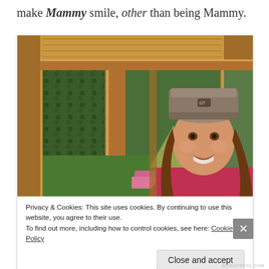make Mammy smile, other than being Mammy.
[Figure (photo): A smiling woman wearing a grey knit beanie hat and a red/pink hoodie, photographed from inside a wooden structure (gazebo or summerhouse) with wooden beams and glass panels, green hedge visible outside in the background.]
Privacy & Cookies: This site uses cookies. By continuing to use this website, you agree to their use.
To find out more, including how to control cookies, see here: Cookie Policy
Close and accept